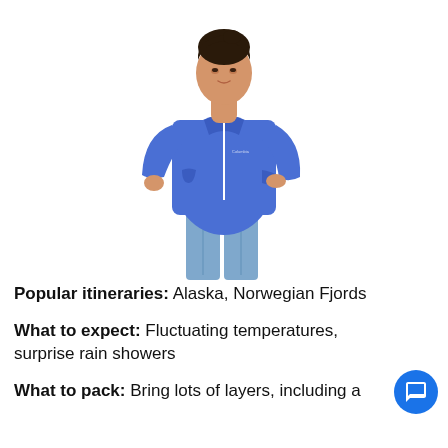[Figure (photo): Woman wearing a bright blue zip-up Columbia windbreaker jacket with jeans, standing against a white background. She has dark hair pulled back and one hand in her jacket pocket.]
Popular itineraries: Alaska, Norwegian Fjords
What to expect: Fluctuating temperatures, surprise rain showers
What to pack: Bring lots of layers, including a